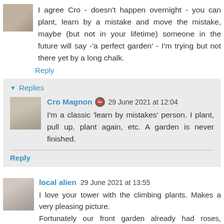I agree Cro - doesn't happen overnight - you can plant, learn by a mistake and move the mistake, maybe (but not in your lifetime) someone in the future will say -'a perfect garden' - I'm trying but not there yet by a long chalk.
Reply
▾ Replies
Cro Magnon 29 June 2021 at 12:04
I'm a classic 'learn by mistakes' person. I plant, pull up, plant again, etc. A garden is never finished.
Reply
local alien 29 June 2021 at 13:55
I love your tower with the climbing plants. Makes a very pleasing picture.
Fortunately our front garden already had roses, geraniums and la...